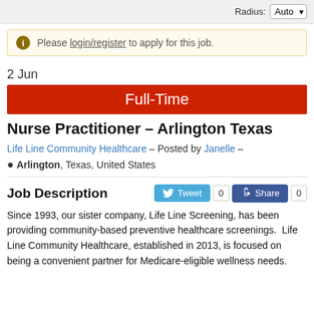Radius: Auto
Please login/register to apply for this job.
2 Jun
Full-Time
Nurse Practitioner – Arlington Texas
Life Line Community Healthcare – Posted by Janelle –
Arlington, Texas, United States
Job Description
Since 1993, our sister company, Life Line Screening, has been providing community-based preventive healthcare screenings.  Life Line Community Healthcare, established in 2013, is focused on being a convenient partner for Medicare-eligible wellness needs.